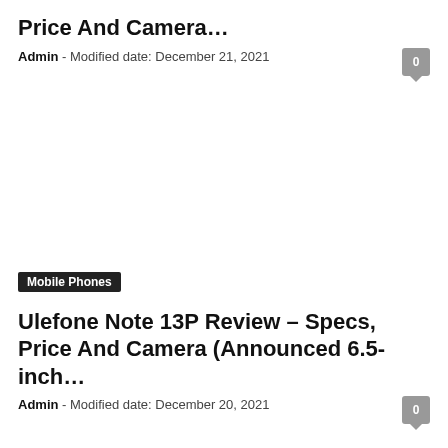Price And Camera…
Admin - Modified date: December 21, 2021
Mobile Phones
Ulefone Note 13P Review – Specs, Price And Camera (Announced 6.5-inch…
Admin - Modified date: December 20, 2021